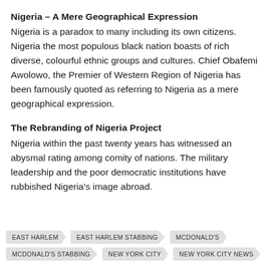Nigeria – A Mere Geographical Expression
Nigeria is a paradox to many including its own citizens. Nigeria the most populous black nation boasts of rich diverse, colourful ethnic groups and cultures. Chief Obafemi Awolowo, the Premier of Western Region of Nigeria has been famously quoted as referring to Nigeria as a mere geographical expression.
The Rebranding of Nigeria Project
Nigeria within the past twenty years has witnessed an abysmal rating among comity of nations. The military leadership and the poor democratic institutions have rubbished Nigeria's image abroad.
EAST HARLEM
EAST HARLEM STABBING
MCDONALD'S
MCDONALD'S STABBING
NEW YORK CITY
NEW YORK CITY NEWS